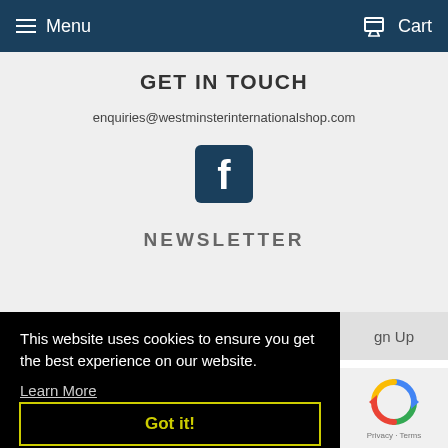Menu   Cart
GET IN TOUCH
enquiries@westminsterinternationalshop.com
[Figure (logo): Facebook logo icon — blue square with white 'f']
NEWSLETTER
Sign Up
This website uses cookies to ensure you get the best experience on our website. Learn More
Got it!
[Figure (other): reCAPTCHA widget showing spinning arrows logo with Privacy · Terms text]